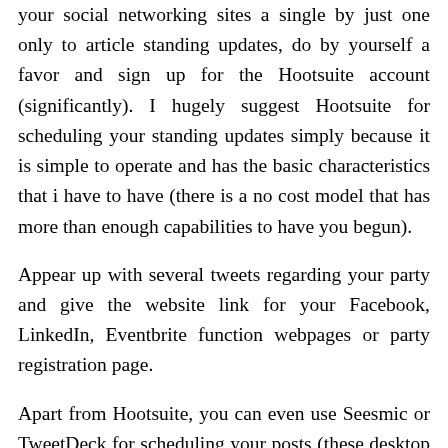your social networking sites a single by just one only to article standing updates, do by yourself a favor and sign up for the Hootsuite account (significantly). I hugely suggest Hootsuite for scheduling your standing updates simply because it is simple to operate and has the basic characteristics that i have to have (there is a no cost model that has more than enough capabilities to have you begun).
Appear up with several tweets regarding your party and give the website link for your Facebook, LinkedIn, Eventbrite function webpages or party registration page.
Apart from Hootsuite, you can even use Seesmic or TweetDeck for scheduling your posts (these desktop purposes are each cost-free).
Produce a movie marketing your digital occasion. It won't ought to be also fancy so you you should not even have to use a pricey video clip editor. All you would like is actually a webcam as well as a